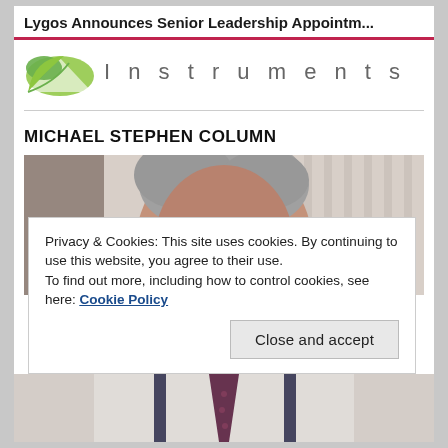Lygos Announces Senior Leadership Appointm...
[Figure (logo): Partial logo with green leaf/arrow shape on left and 'Instruments' text in grey spaced letters on right]
MICHAEL STEPHEN COLUMN
[Figure (photo): Photo of an older man with grey hair, partially visible, showing the top of his head and face, wearing suspenders and a tie]
Privacy & Cookies: This site uses cookies. By continuing to use this website, you agree to their use.
To find out more, including how to control cookies, see here: Cookie Policy
Close and accept